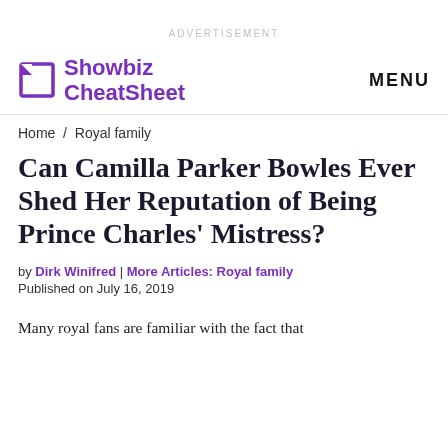ADVERTISEMENT
Showbiz CheatSheet | MENU
Home / Royal family
Can Camilla Parker Bowles Ever Shed Her Reputation of Being Prince Charles' Mistress?
by Dirk Winifred | More Articles: Royal family
Published on July 16, 2019
Many royal fans are familiar with the fact that